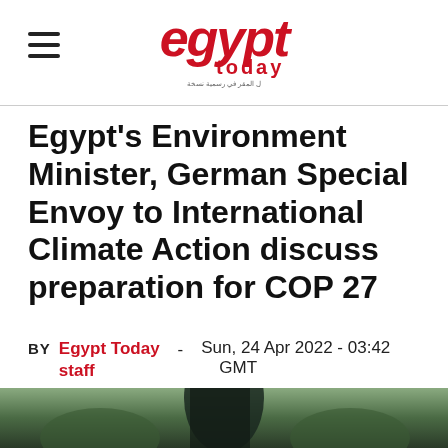egypt today
Egypt's Environment Minister, German Special Envoy to International Climate Action discuss preparation for COP 27
BY Egypt Today staff - Sun, 24 Apr 2022 - 03:42 GMT
[Figure (photo): Bottom strip showing a partial photograph, appears to be an outdoor or plant scene with dark tones]